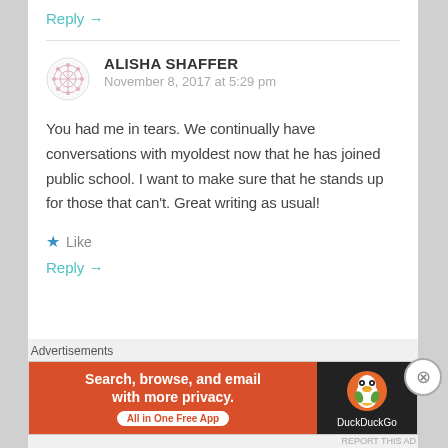Reply →
ALISHA SHAFFER
November 8, 2017 at 5:29 pm
You had me in tears. We continually have conversations with myoldest now that he has joined public school. I want to make sure that he stands up for those that can't. Great writing as usual!
★ Like
Reply →
Advertisements
[Figure (screenshot): DuckDuckGo advertisement banner: orange left side with text 'Search, browse, and email with more privacy. All in One Free App' and dark right side with DuckDuckGo duck logo and 'DuckDuckGo' text]